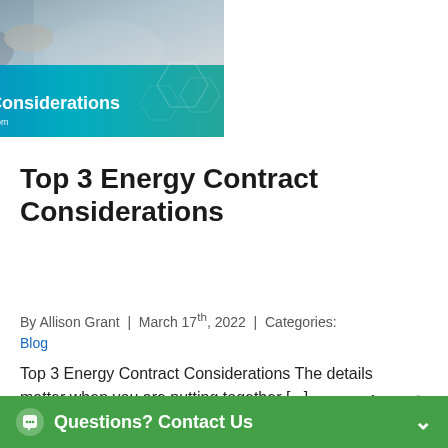[Figure (photo): Blog post banner image with a handshake photo at top, blue-to-teal gradient overlay with 'TOP 3' green badge, bold white title 'Energy Contract Considerations', and URL 'Read More at BrokerOnlineXchange.com']
Top 3 Energy Contract Considerations
By Allison Grant  |  March 17th, 2022  |  Categories: Blog
Top 3 Energy Contract Considerations The details matter when you are putting together [...]
Read More →
Questions? Contact Us